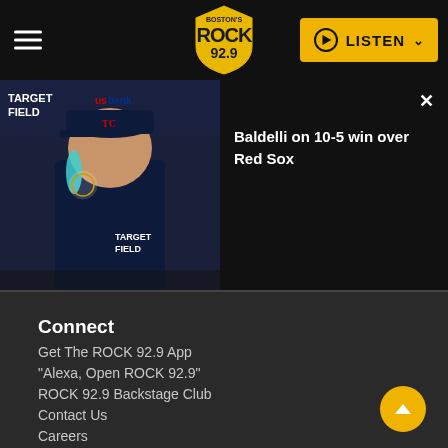Boston's ROCK 92.9 — LISTEN
[Figure (screenshot): Video thumbnail showing a baseball manager at a press conference podium, wearing a Twins cap. Target Field and US Bank signage visible in the background.]
Baldelli on 10-5 win over Red Sox
Connect
Get The ROCK 92.9 App
"Alexa, Open ROCK 92.9"
ROCK 92.9 Backstage Club
Contact Us
Careers